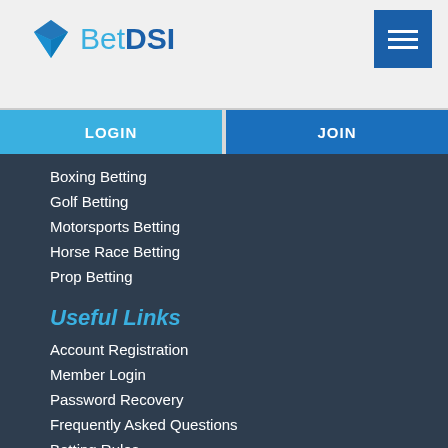BetDSI
LOGIN
JOIN
Boxing Betting
Golf Betting
Motorsports Betting
Horse Race Betting
Prop Betting
Useful Links
Account Registration
Member Login
Password Recovery
Frequently Asked Questions
Betting Rules
Loyalty Program
Latest Promotions
Referral Program
Affiliate Login